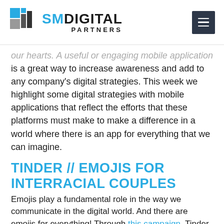SM Digital Partners
our hearts. A useful or engaging mobile application is a great way to increase awareness and add to any company's digital strategies. This week we highlight some digital strategies with mobile applications that reflect the efforts that these platforms must make to make a difference in a world where there is an app for everything that we can imagine.
TINDER // EMOJIS FOR INTERRACIAL COUPLES
Emojis play a fundamental role in the way we communicate in the digital world. And there are emojis for everything! Through this campaign, Tinder, the famous application to find a